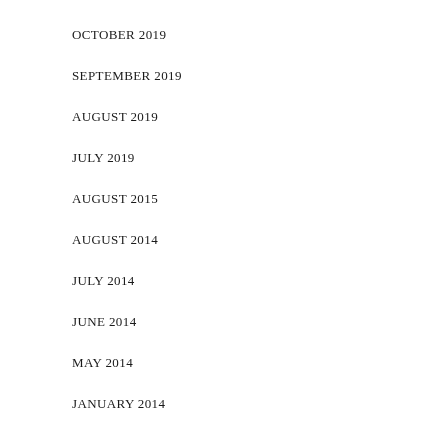OCTOBER 2019
SEPTEMBER 2019
AUGUST 2019
JULY 2019
AUGUST 2015
AUGUST 2014
JULY 2014
JUNE 2014
MAY 2014
JANUARY 2014